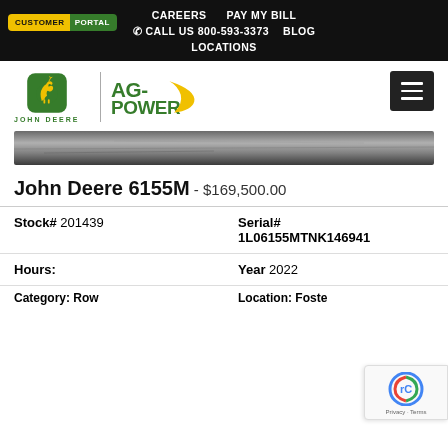CAREERS  PAY MY BILL  CALL US 800-593-3373  BLOG  LOCATIONS
[Figure (logo): John Deere and AG-Power logos side by side with a vertical divider]
[Figure (photo): Landscape hero image showing terrain/dirt]
John Deere 6155M - $169,500.00
| Stock# 201439 | Serial# 1L06155MTNK146941 |
| Hours: | Year 2022 |
| Category: Row | Location: Foste... |